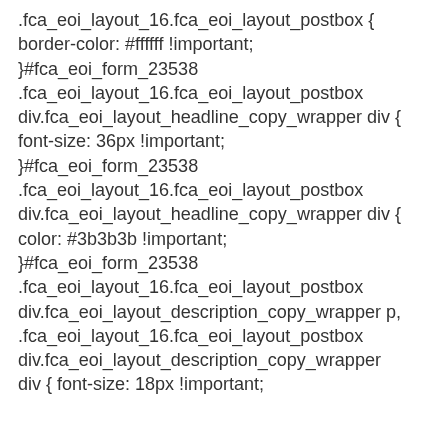.fca_eoi_layout_16.fca_eoi_layout_postbox {
border-color: #ffffff !important;
}#fca_eoi_form_23538
.fca_eoi_layout_16.fca_eoi_layout_postbox
div.fca_eoi_layout_headline_copy_wrapper div {
font-size: 36px !important;
}#fca_eoi_form_23538
.fca_eoi_layout_16.fca_eoi_layout_postbox
div.fca_eoi_layout_headline_copy_wrapper div {
color: #3b3b3b !important;
}#fca_eoi_form_23538
.fca_eoi_layout_16.fca_eoi_layout_postbox
div.fca_eoi_layout_description_copy_wrapper p,
.fca_eoi_layout_16.fca_eoi_layout_postbox
div.fca_eoi_layout_description_copy_wrapper
div { font-size: 18px !important;